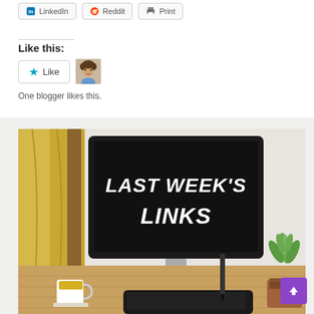[Figure (screenshot): Share buttons row showing LinkedIn, Reddit, and Print buttons with icons]
Like this:
[Figure (screenshot): WordPress Like widget with a Like button (star icon, 'Like' text) and a small avatar photo. Below reads 'One blogger likes this.']
One blogger likes this.
[Figure (photo): Photo of a desktop computer monitor on a wooden desk showing text 'LAST WEEK'S LINKS' in bold white italic font on a black screen. A white coffee mug, a graphics tablet, and a potted succulent plant are visible on the desk.]